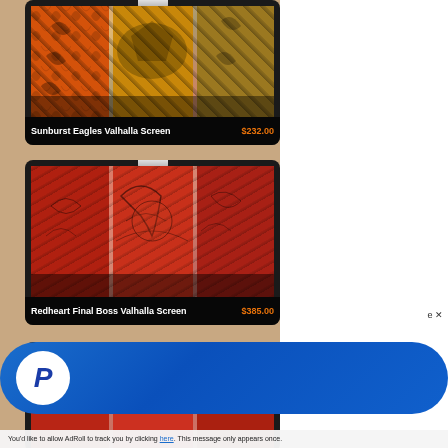[Figure (photo): Product listing card for 'Sunburst Eagles Valhalla Screen' priced at $232.00. Shows a decorative multi-panel screen with eagle motifs in orange, yellow, and brown tones with leaf patterns.]
Sunburst Eagles Valhalla Screen   $232.00
[Figure (photo): Product listing card for 'Redheart Final Boss Valhalla Screen' priced at $385.00. Shows a decorative multi-panel screen in red/redheart tones with detailed etched artwork.]
Redheart Final Boss Valhalla Screen   $385.00
[Figure (photo): Partially visible product listing card with a '5% OFF' red badge. Shows a decorative screen in red tones, cut off at the bottom of the page.]
[Figure (screenshot): PayPal promotional overlay banner in blue gradient with PayPal logo circle (white circle with blue P). Partially overlaps the page bottom.]
You'd like to allow AdRoll to track you by clicking here. This message only appears once.